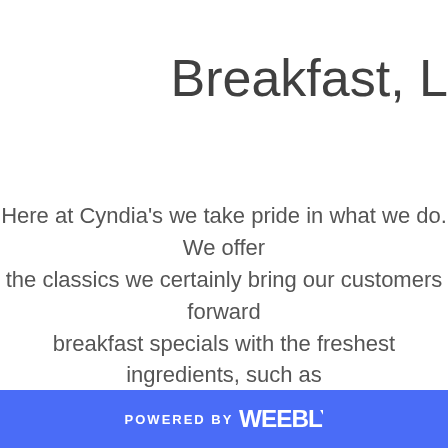Breakfast, L
Here at Cyndia's we take pride in what we do. We offer the classics we certainly bring our customers forward breakfast specials with the freshest ingredients, such as lunch with our specia
Plus, we also offer home made sweet treats for our cust our regular menu, but we also have Currently we are offering curbs
POWERED BY weebly